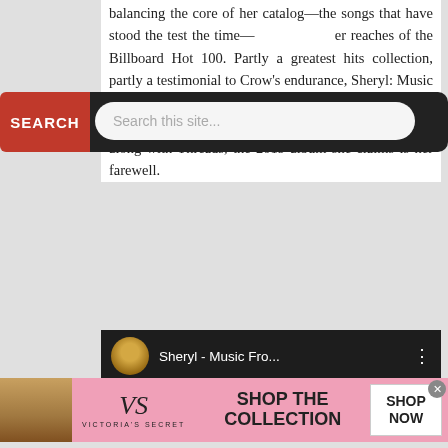balancing the core of her catalog—the songs that have stood the test the time— [a] legacy artist [reachi]er reaches of the Billboard Hot 100. Partly a greatest hits collection, partly a testimonial to Crow's endurance, Sheryl: Music From the Feature Documentary leans heavily into the bookends of her career, emphasizing her 1990s hits along with Threads, the 2019 album she claims is her farewell.
[Figure (screenshot): Search bar overlay with red SEARCH button on left and text input reading 'Search this site...']
[Figure (screenshot): YouTube video embed showing 'Sheryl - Music Fro...' with channel avatar, title, menu dots, and video thumbnail with red play button over a dark background]